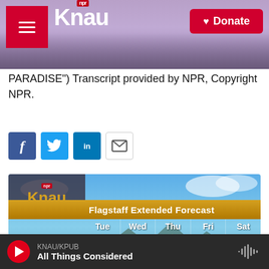[Figure (screenshot): KNAU NPR radio station website header banner with purple mountain background, red hamburger menu box, KNAU logo, and red Donate button]
PARADISE") Transcript provided by NPR, Copyright NPR.
[Figure (screenshot): Social share buttons row: Facebook (blue), Twitter (blue), LinkedIn (blue), Email (white/gray)]
[Figure (screenshot): KNAU Flagstaff Extended Forecast weather widget showing Tue, Wed, Thu, Fri, Sat with sun icons]
KNAU/KPUB
All Things Considered